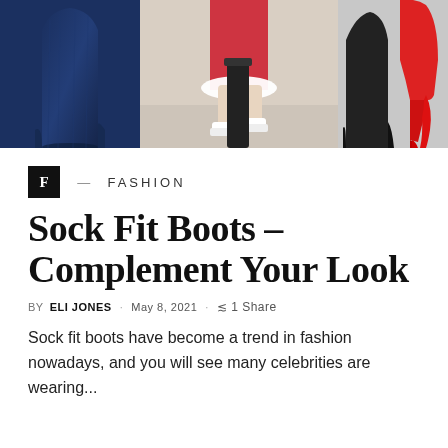[Figure (photo): Three photos of fashionable boots side by side: left shows a denim/dark blue sock-fit boot, center shows street style with white sneaker boots on a person wearing a red dress, right shows a black sock-fit boot and a red high-heel sock boot]
F — FASHION
Sock Fit Boots – Complement Your Look
BY ELI JONES · MAY 8, 2021 · 1 SHARE
Sock fit boots have become a trend in fashion nowadays, and you will see many celebrities are wearing...